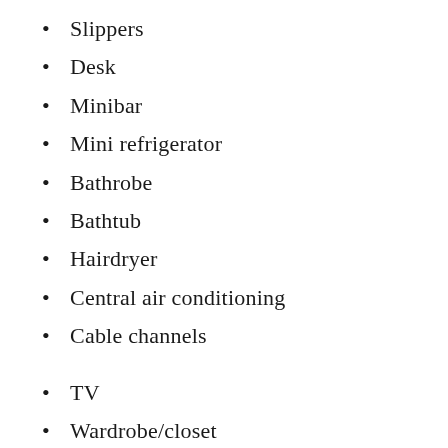Slippers
Desk
Minibar
Mini refrigerator
Bathrobe
Bathtub
Hairdryer
Central air conditioning
Cable channels
TV
Wardrobe/closet